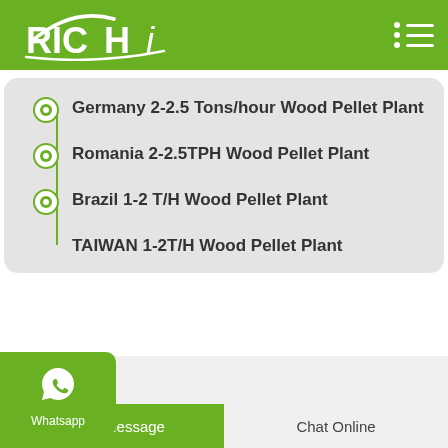RICHI
Germany 2-2.5 Tons/hour Wood Pellet Plant
Romania 2-2.5TPH Wood Pellet Plant
Brazil 1-2 T/H Wood Pellet Plant
TAIWAN 1-2T/H Wood Pellet Plant
Leave Message  Chat Online